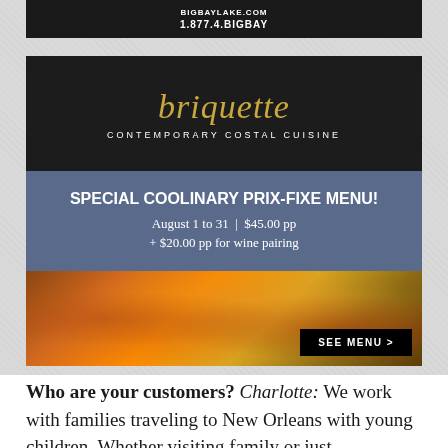[Figure (other): Top banner advertisement for BIGBAYLAKE.COM showing URL and phone number 1.877.4.BIGBAY on dark background]
[Figure (other): Briquette restaurant advertisement showing: restaurant name 'briquette' in gold italic font, subtitle 'CONTEMPORARY COSTAL CUISINE', blue promotional banner for 'SPECIAL COOLINARY PRIX-FIXE MENU! August 1 to 31 | $45.00 pp + $20.00 pp for wine pairing', food photo of seafood/shellfish dish, and 'SEE MENU >' button]
Who are your customers? Charlotte: We work with families traveling to New Orleans with young children. Whether visiting family or just